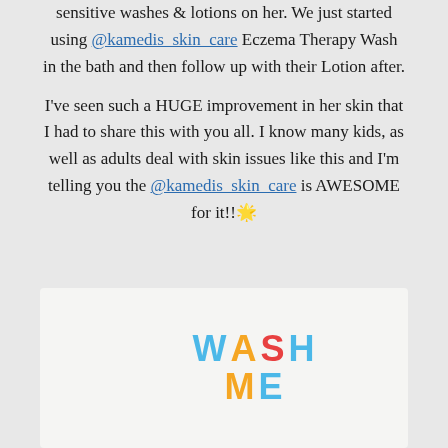sensitive washes & lotions on her. We just started using @kamedis_skin_care Eczema Therapy Wash in the bath and then follow up with their Lotion after.

I've seen such a HUGE improvement in her skin that I had to share this with you all. I know many kids, as well as adults deal with skin issues like this and I'm telling you the @kamedis_skin_care is AWESOME for it!!🌟
[Figure (photo): Product photo showing colorful foam letters spelling WASH ME on a light background]